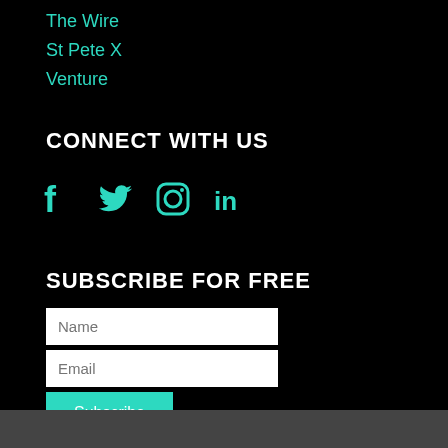The Wire
St Pete X
Venture
CONNECT WITH US
[Figure (infographic): Social media icons for Facebook, Twitter, Instagram, and LinkedIn in teal/cyan color]
SUBSCRIBE FOR FREE
Name input field
Email input field
Subscribe button